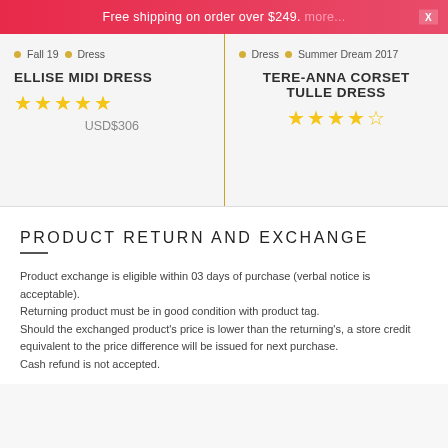Free shipping on order over $249. more...
Fall 19  Dress
ELLISE MIDI DRESS
★★★★★ USD$306
Dress  Summer Dream 2017
TERE-ANNA CORSET TULLE DRESS
★★★★½
PRODUCT RETURN AND EXCHANGE
Product exchange is eligible within 03 days of purchase (verbal notice is acceptable).
Returning product must be in good condition with product tag.
Should the exchanged product's price is lower than the returning's, a store credit equivalent to the price difference will be issued for next purchase.
Cash refund is not accepted.